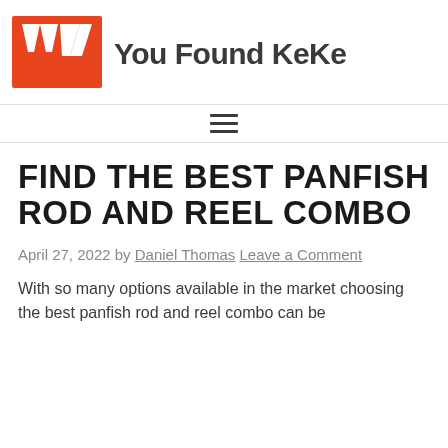You Found KeKe
FIND THE BEST PANFISH ROD AND REEL COMBO
April 27, 2022 by Daniel Thomas Leave a Comment
With so many options available in the market choosing the best panfish rod and reel combo can be